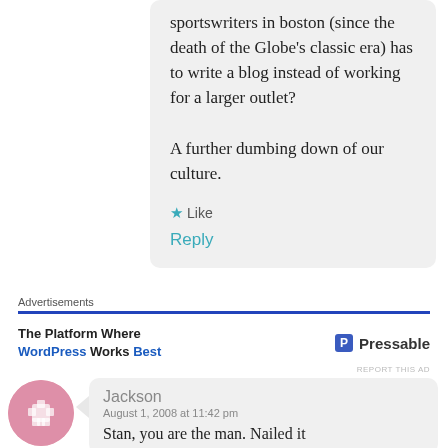sportswriters in boston (since the death of the Globe's classic era) has to write a blog instead of working for a larger outlet?

A further dumbing down of our culture.
★ Like
Reply
Advertisements
[Figure (infographic): Advertisement for Pressable WordPress hosting platform]
REPORT THIS AD
Jackson
August 1, 2008 at 11:42 pm
Stan, you are the man. Nailed it